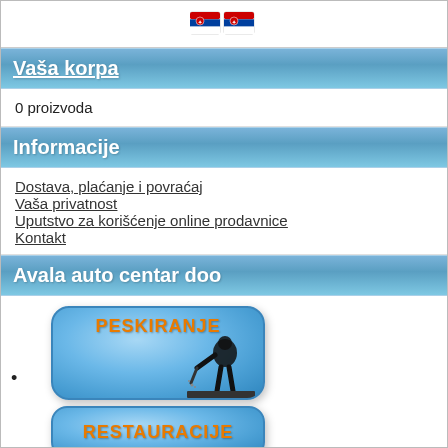[Serbian and Serbian flag icons]
Vaša korpa
0 proizvoda
Informacije
Dostava, plaćanje i povraćaj
Vaša privatnost
Uputstvo za korišćenje online prodavnice
Kontakt
Avala auto centar doo
[Figure (illustration): Blue rounded button with orange bold text 'PESKIRANJE' and a black silhouette of a worker sandblasting]
[Figure (illustration): Blue rounded button with orange bold text 'RESTAURACIJE']